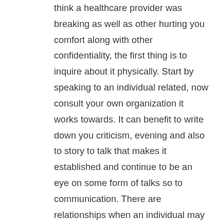think a healthcare provider was breaking as well as other hurting you comfort along with other confidentiality, the first thing is to inquire about it physically. Start by speaking to an individual related, now consult your own organization it works towards. It can benefit to write down you criticism, evening and also to story to talk that makes it established and continue to be an eye on some form of talks so to communication. There are relationships when an individual may be acknowledge you're able to medical and also to treated without having your own consent. A typical example of which is a crisis scenario wherein you demands important medicine and also is unable to talk,